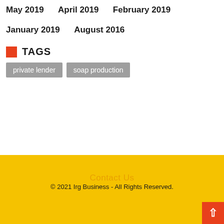May 2019
April 2019
February 2019
January 2019
August 2016
TAGS
private lender
soap production
Contact Us
© 2021 Irg Business - All Rights Reserved.